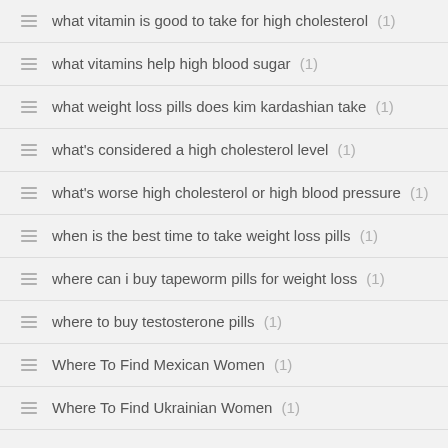what vitamin is good to take for high cholesterol (1)
what vitamins help high blood sugar (1)
what weight loss pills does kim kardashian take (1)
what's considered a high cholesterol level (1)
what's worse high cholesterol or high blood pressure (1)
when is the best time to take weight loss pills (1)
where can i buy tapeworm pills for weight loss (1)
where to buy testosterone pills (1)
Where To Find Mexican Women (1)
Where To Find Ukrainian Women (1)